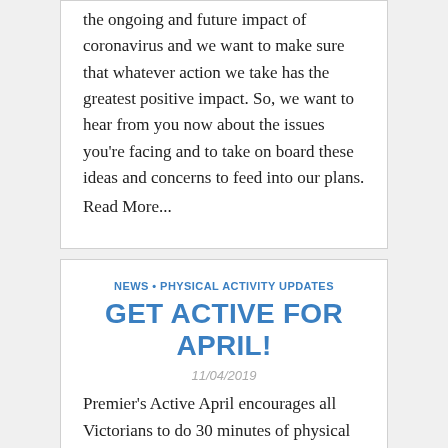the ongoing and future impact of coronavirus and we want to make sure that whatever action we take has the greatest positive impact. So, we want to hear from you now about the issues you're facing and to take on board these ideas and concerns to feed into our plans.
Read More...
NEWS • PHYSICAL ACTIVITY UPDATES
GET ACTIVE FOR APRIL!
11/04/2019
Premier's Active April encourages all Victorians to do 30 minutes of physical activity a day during Apr... It's free and it's part of the Victorian Government's